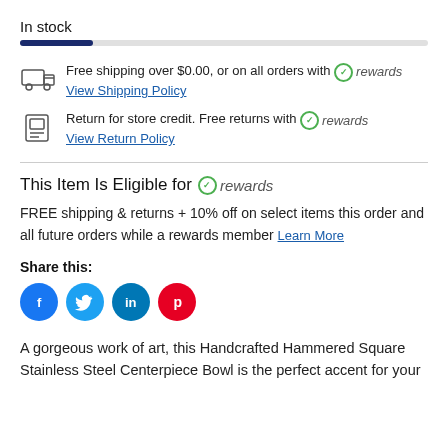In stock
Free shipping over $0.00, or on all orders with rewards
View Shipping Policy
Return for store credit. Free returns with rewards
View Return Policy
This Item Is Eligible for rewards
FREE shipping & returns + 10% off on select items this order and all future orders while a rewards member Learn More
Share this:
[Figure (other): Social sharing icons: Facebook, Twitter, LinkedIn, Pinterest]
A gorgeous work of art, this Handcrafted Hammered Square Stainless Steel Centerpiece Bowl is the perfect accent for your